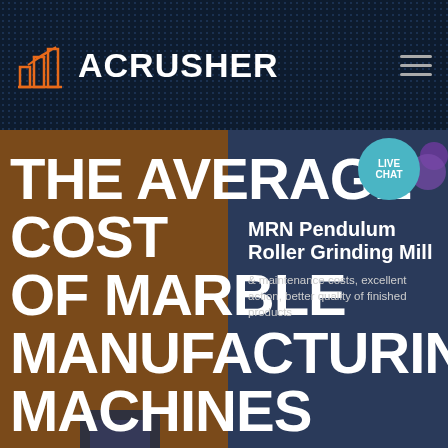ACRUSHER
THE AVERAGE COST OF MARBLE MANUFACTURING MACHINES
MRN Pendulum Roller Grinding Mill
& maintenance costs, excellent action, better quality of finished products
LIVE CHAT
HOME / PRODUCTS
Get a Quote
WhatsApp